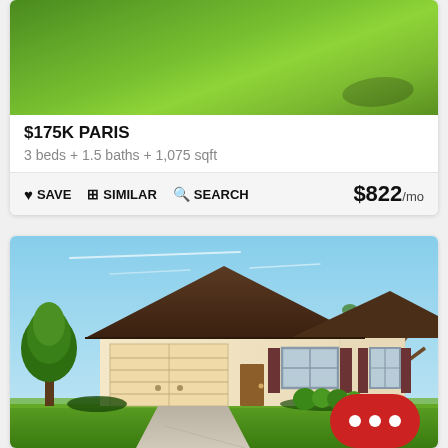[Figure (photo): Green grass lawn, top portion of a real estate listing photo]
$175K PARIS
3 beds + 1.5 baths + 1,075 sqft
♥ SAVE   🖼 SIMILAR   🔍 SEARCH   $822/mo
[Figure (photo): Single-story ranch house with double garage, brown roof, cream/tan exterior, trees on either side, concrete driveway, red chat bubble overlay in bottom right]